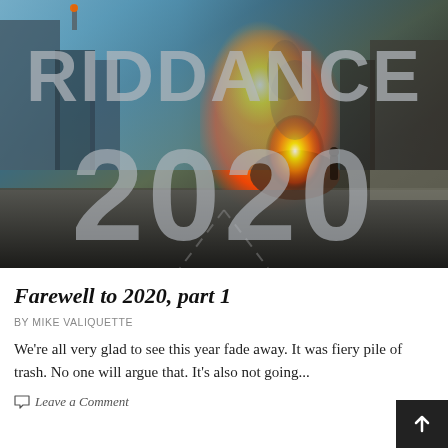[Figure (photo): Street scene showing a burning trash can or vehicle on a city street, with large overlaid semi-transparent text reading 'RIDDANCE' and '2020'. The image has warm fire tones on the right side contrasting with the cool blue sky on the left.]
Farewell to 2020, part 1
BY MIKE VALIQUETTE
We're all very glad to see this year fade away. It was fiery pile of trash. No one will argue that. It's also not going...
Leave a Comment